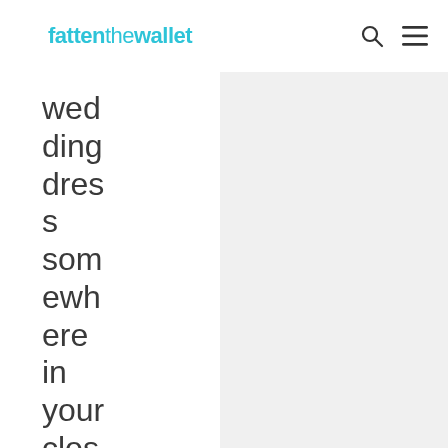fattenthewallet
wedding dress somewhere in your closet that you will